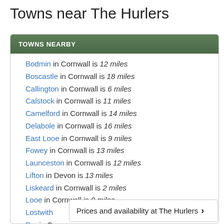Towns near The Hurlers
TOWNS NEARBY
Bodmin in Cornwall is 12 miles
Boscastle in Cornwall is 18 miles
Callington in Cornwall is 6 miles
Calstock in Cornwall is 11 miles
Camelford in Cornwall is 14 miles
Delabole in Cornwall is 16 miles
East Looe in Cornwall is 9 miles
Fowey in Cornwall is 13 miles
Launceston in Cornwall is 12 miles
Lifton in Devon is 13 miles
Liskeard in Cornwall is 2 miles
Looe in Cornwall is 9 miles
Lostwith...
Par in C...
Prices and availability at The Hurlers